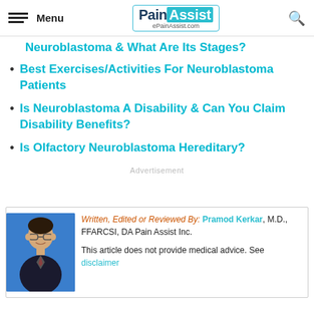Menu | PainAssist ePainAssist.com
Neuroblastoma & What Are Its Stages?
Best Exercises/Activities For Neuroblastoma Patients
Is Neuroblastoma A Disability & Can You Claim Disability Benefits?
Is Olfactory Neuroblastoma Hereditary?
Advertisement
[Figure (photo): Portrait photo of Dr. Pramod Kerkar in a suit with glasses against a blue background]
Written, Edited or Reviewed By: Pramod Kerkar, M.D., FFARCSI, DA Pain Assist Inc.

This article does not provide medical advice. See disclaimer